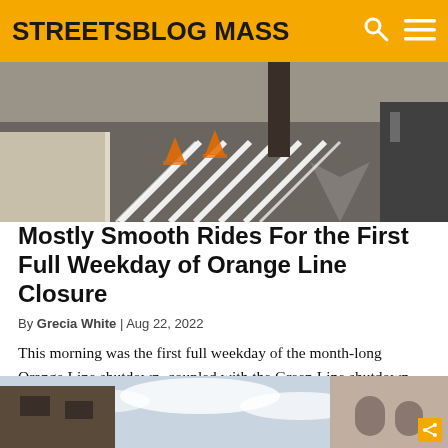STREETSBLOG MASS
[Figure (photo): Street crosswalk markings painted in white on asphalt, with orange traffic cones visible in the background, and a vehicle partially visible on the right.]
Mostly Smooth Rides For the First Full Weekday of Orange Line Closure
By Grecia White | Aug 22, 2022
This morning was the first full weekday of the month-long Orange Line shutdown, coupled with the Green Line shutdown from Government Center to Union Square. On my way to work downtown, I left my house and tried to make peace with the uncertainty of the commute ahead. Originally, my plan to reach downtown Boston involved [...]
[Figure (photo): Partial view of building facades against a cloudy sky, bottom of the page.]